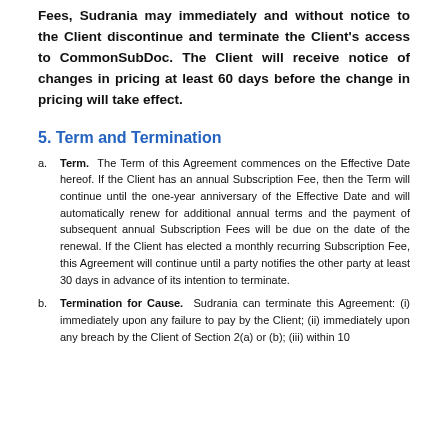Fees, Sudrania may immediately and without notice to the Client discontinue and terminate the Client's access to CommonSubDoc. The Client will receive notice of changes in pricing at least 60 days before the change in pricing will take effect.
5. Term and Termination
Term. The Term of this Agreement commences on the Effective Date hereof. If the Client has an annual Subscription Fee, then the Term will continue until the one-year anniversary of the Effective Date and will automatically renew for additional annual terms and the payment of subsequent annual Subscription Fees will be due on the date of the renewal. If the Client has elected a monthly recurring Subscription Fee, this Agreement will continue until a party notifies the other party at least 30 days in advance of its intention to terminate.
Termination for Cause. Sudrania can terminate this Agreement: (i) immediately upon any failure to pay by the Client; (ii) immediately upon any breach by the Client of Section 2(a) or (b); (iii) within 10